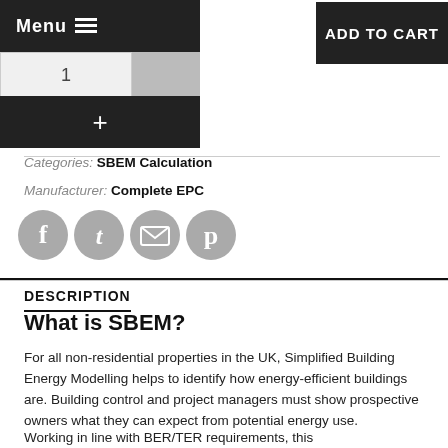[Figure (screenshot): E-commerce UI showing Menu bar, Add to Cart button, quantity selector with value 1, and plus button]
Categories: SBEM Calculation
Manufacturer: Complete EPC
[Figure (illustration): Social sharing icons: Facebook, Twitter, Email, Pinterest]
DESCRIPTION
What is SBEM?
For all non-residential properties in the UK, Simplified Building Energy Modelling helps to identify how energy-efficient buildings are. Building control and project managers must show prospective owners what they can expect from potential energy use.
Working in line with BER/TER requirements, this